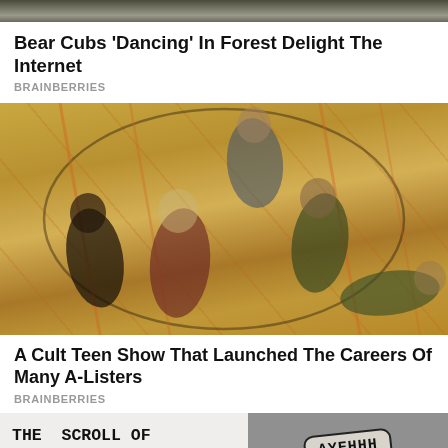[Figure (photo): Partial view of bear cubs in a forest setting (cropped at top)]
Bear Cubs 'Dancing' In Forest Delight The Internet
BRAINBERRIES
[Figure (photo): Group of young actors lying/sitting on a gymnasium floor, looking up at camera — promotional photo for a teen TV show]
A Cult Teen Show That Launched The Careers Of Many A-Listers
BRAINBERRIES
[Figure (photo): Two images side by side: left shows handwritten text 'THE SCROLL OF TRUTH!', right shows a sign reading 'AYEHHH']